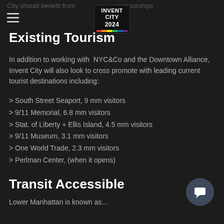City should benefit from … sponsorships
[Figure (logo): INVENT CITY 2024 logo in a dark box with multicolor bar at bottom]
Existing Tourism
In addition to working with NYC&Co and the Downtown Alliance, Invent City will also look to cross promote with leading current tourist destinations including:
> South Street Seaport, 9 mm visitors
> 9/11 Memorial, 6.8 mm visitors
> Stat. of Liberty + Ellis Island, 4.5 mm visitors
> 9/11 Museum, 3.1 mm visitors
> One World Trade, 2.3 mm visitors
> Perlman Center, (when it opens)
Transit Accessible
Lower Manhattan is known as…